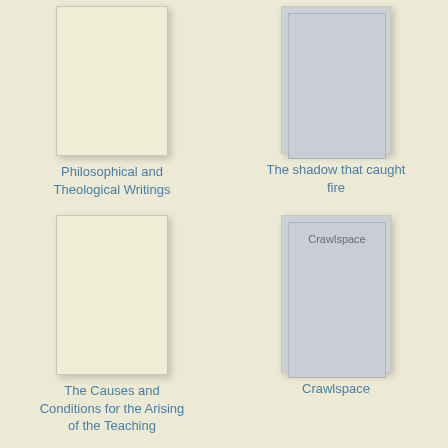[Figure (illustration): Book cover - cream/off-white colored book cover thumbnail, no text visible]
Philosophical and Theological Writings
[Figure (illustration): Book cover - gray colored book cover thumbnail, no image visible]
The shadow that caught fire
[Figure (illustration): Book cover - cream/off-white colored book cover thumbnail, no text visible]
The Causes and Conditions for the Arising of the Teaching
[Figure (illustration): Book cover - gray colored book cover with text 'Crawlspace' near the top]
Crawlspace